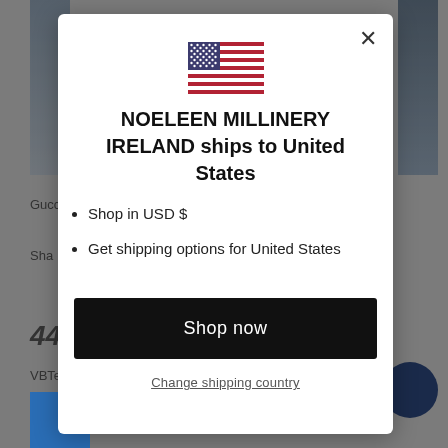[Figure (screenshot): Background webpage with gray overlay showing partial product listing page with text 'Gucci', 'Shar', '44', 'VBTe' and blue/dark image thumbnails]
NOELEEN MILLINERY IRELAND ships to United States
Shop in USD $
Get shipping options for United States
Shop now
Change shipping country